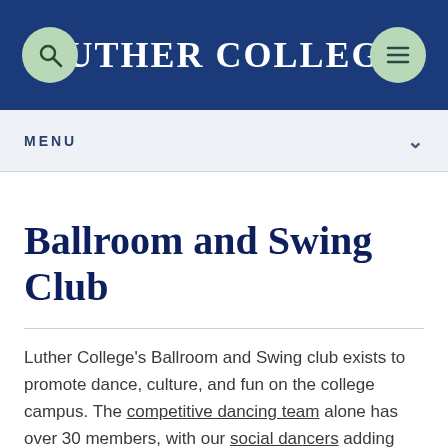LUTHER COLLEGE
MENU
Ballroom and Swing Club
Luther College's Ballroom and Swing club exists to promote dance, culture, and fun on the college campus. The competitive dancing team alone has over 30 members, with our social dancers adding even